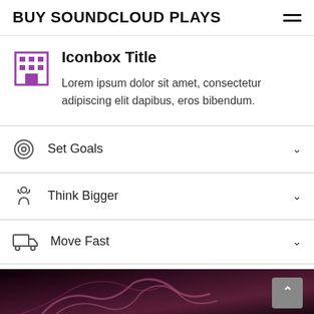BUY SOUNDCLOUD PLAYS
Iconbox Title
Lorem ipsum dolor sit amet, consectetur adipiscing elit dapibus, eros bibendum.
Set Goals
Think Bigger
Move Fast
[Figure (photo): Dark abstract image with pink/purple smoke or hair swirls at bottom of page]